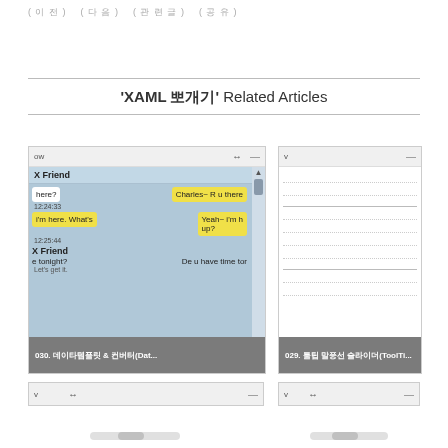( 이 전 ) ( 다 음 ) ( 관 련 글 ) ( 공 유 )
'XAML 뽀개기' Related Articles
[Figure (screenshot): Left screenshot showing a XAML chat UI preview with chat bubbles, timestamps (12:24:33, 12:25:44), messages including 'X Friend', 'Charles~ R u there', 'I'm here. What's', 'Yeah~ I'm h up?'. Caption: 030. 데이타템플릿 & 컨버터(Dat...]
[Figure (screenshot): Right screenshot showing partial XAML UI with dotted lines. Caption: 029. 툴팁 말풍선 슬라이더(ToolTi...]
[Figure (screenshot): Bottom left partial card with chrome bar showing v and arrow icons]
[Figure (screenshot): Bottom right partial card with chrome bar showing v and arrow icons]